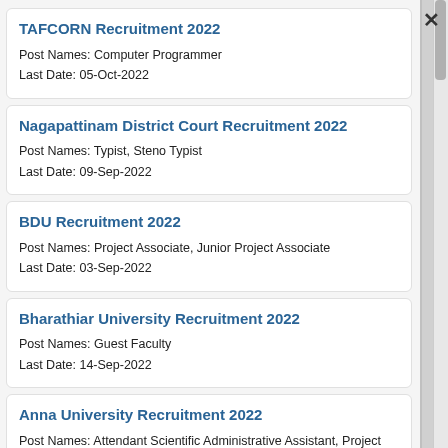TAFCORN Recruitment 2022
Post Names: Computer Programmer
Last Date: 05-Oct-2022
Nagapattinam District Court Recruitment 2022
Post Names: Typist, Steno Typist
Last Date: 09-Sep-2022
BDU Recruitment 2022
Post Names: Project Associate, Junior Project Associate
Last Date: 03-Sep-2022
Bharathiar University Recruitment 2022
Post Names: Guest Faculty
Last Date: 14-Sep-2022
Anna University Recruitment 2022
Post Names: Attendant Scientific Administrative Assistant, Project Scientist